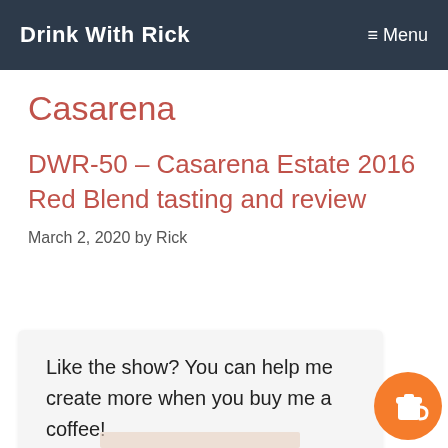Drink With Rick   Menu
Casarena
DWR-50 – Casarena Estate 2016 Red Blend tasting and review
March 2, 2020 by Rick
Like the show? You can help me create more when you buy me a coffee!
[Figure (illustration): Orange circular coffee cup button icon]